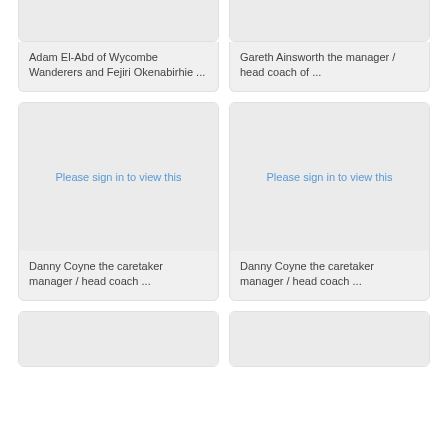[Figure (photo): Partially visible card image, top clipped]
Adam El-Abd of Wycombe Wanderers and Fejiri Okenabirhie ...
[Figure (photo): Partially visible card image, top clipped]
Gareth Ainsworth the manager / head coach of ...
[Figure (photo): Please sign in to view this]
Danny Coyne the caretaker manager / head coach ...
[Figure (photo): Please sign in to view this]
Danny Coyne the caretaker manager / head coach ...
[Figure (photo): Partially visible card at bottom]
[Figure (photo): Partially visible card at bottom]